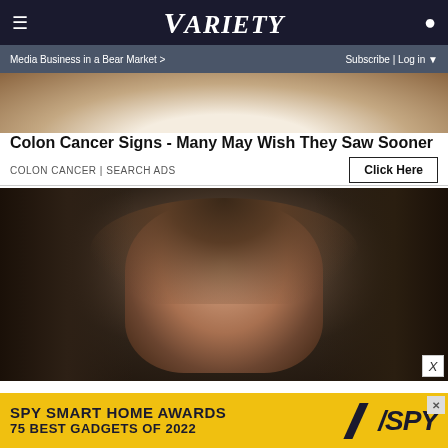VARIETY — Media Business in a Bear Market > | Subscribe | Log in
[Figure (photo): Partial cropped image of a person in white outfit, top portion only visible]
Colon Cancer Signs - Many May Wish They Saw Sooner
COLON CANCER | SEARCH ADS
[Figure (photo): Woman with long brown hair and bangs smiling at a red carpet event, surrounded by crowd and photographers]
SPY SMART HOME AWARDS 75 BEST GADGETS OF 2022